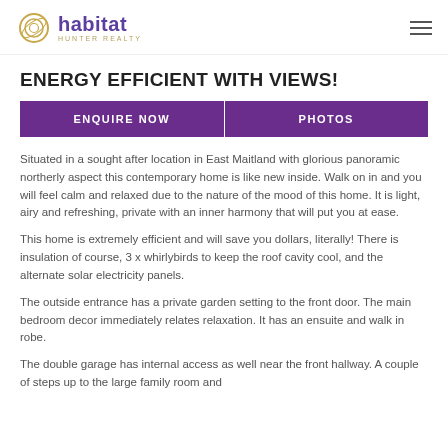habitat HUNTER REALTY
ENERGY EFFICIENT WITH VIEWS!
ENQUIRE NOW   PHOTOS
Situated in a sought after location in East Maitland with glorious panoramic northerly aspect this contemporary home is like new inside. Walk on in and you will feel calm and relaxed due to the nature of the mood of this home. It is light, airy and refreshing, private with an inner harmony that will put you at ease.
This home is extremely efficient and will save you dollars, literally! There is insulation of course, 3 x whirlybirds to keep the roof cavity cool, and the alternate solar electricity panels.
The outside entrance has a private garden setting to the front door. The main bedroom decor immediately relates relaxation. It has an ensuite and walk in robe.
The double garage has internal access as well near the front hallway. A couple of steps up to the large family room and